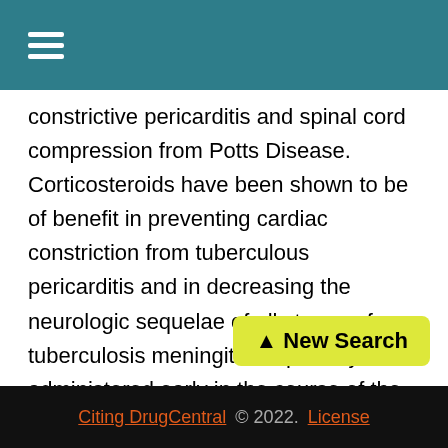≡
constrictive pericarditis and spinal cord compression from Potts Disease. Corticosteroids have been shown to be of benefit in preventing cardiac constriction from tuberculous pericarditis and in decreasing the neurologic sequelae of all stages of tuberculosis meningitis, especially when administered early in the course of the disease. Pregnant Women with Tuberculosis. The options listed above must be adjusted for the pregnant patient. Streptomycin interferes with in utero development of the ear and may cause congenital deafness. Routine use of pyrazinamide is also not recommended in pregnancy due to inadequate teratogenicity data. The regimen should consist of isoniazid and rifampin
Citing DrugCentral © 2022. License